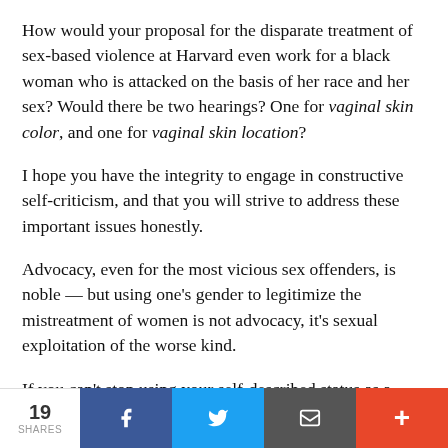How would your proposal for the disparate treatment of sex-based violence at Harvard even work for a black woman who is attacked on the basis of her race and her sex? Would there be two hearings? One for vaginal skin color, and one for vaginal skin location?
I hope you have the integrity to engage in constructive self-criticism, and that you will strive to address these important issues honestly.
Advocacy, even for the most vicious sex offenders, is noble — but using one's gender to legitimize the mistreatment of women is not advocacy, it's sexual exploitation of the worse kind.
If you can't stop using your self-described status as a
19 SHARES  f  [twitter]  [email]  +